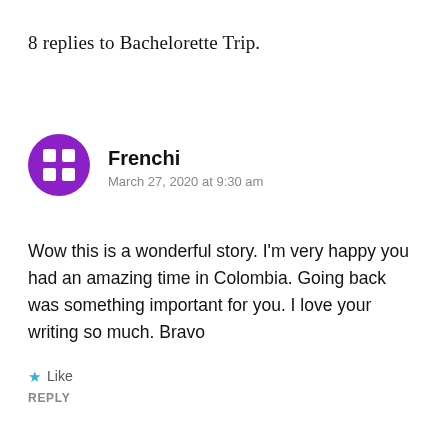8 replies to Bachelorette Trip.
[Figure (illustration): Purple circular avatar with a white grid/table icon (four white squares arranged in a 2x2 pattern) representing user Frenchi]
Frenchi
March 27, 2020 at 9:30 am
Wow this is a wonderful story. I'm very happy you had an amazing time in Colombia. Going back was something important for you. I love your writing so much. Bravo
★ Like
REPLY